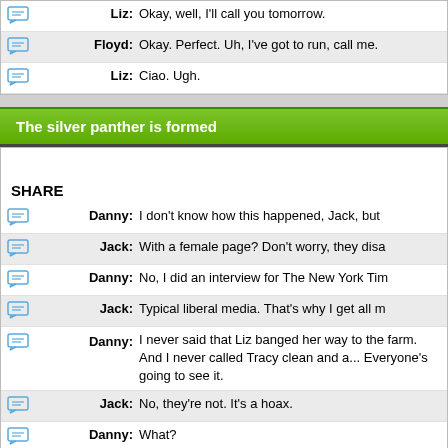| icon | speaker | text |
| --- | --- | --- |
| [icon] | Liz: | Okay, well, I'll call you tomorrow. |
| [icon] | Floyd: | Okay. Perfect. Uh, I've got to run, call me. |
| [icon] | Liz: | Ciao. Ugh. |
The silver panther is formed
SHARE
| icon | speaker | text |
| --- | --- | --- |
| [icon] | Danny: | I don't know how this happened, Jack, but |
| [icon] | Jack: | With a female page? Don't worry, they disa |
| [icon] | Danny: | No, I did an interview for The New York Tim |
| [icon] | Jack: | Typical liberal media. That's why I get all m |
| [icon] | Danny: | I never said that Liz banged her way to the farm. And I never called Tracy clean and a... Everyone's going to see it. |
| [icon] | Jack: | No, they're not. It's a hoax. |
| [icon] | Danny: | What? |
| [icon] | Jack: | The New York Times doesn't have a staff v |
| [icon] | Jack: | My guess is this is the work of Frank, uh... |
| [icon] | Danny: | The writers... Why would they do that to m |
| [icon] | Jack: | Because they look at you, and you're ever |
| [icon] | Danny: | So are you, Jack. |
| [icon] | Jack: | I wasn't fishing, but thank you, Danny, we |